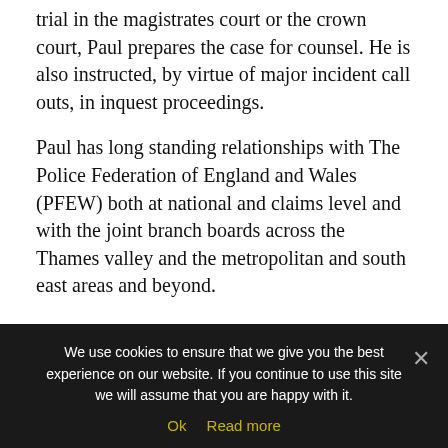trial in the magistrates court or the crown court, Paul prepares the case for counsel. He is also instructed, by virtue of major incident call outs, in inquest proceedings.
Paul has long standing relationships with The Police Federation of England and Wales (PFEW) both at national and claims level and with the joint branch boards across the Thames valley and the metropolitan and south east areas and beyond.
A recent client who Paul advised and then represented via counsel to a successful conclusion at a gross misconduct tribunal stated: “I wanted to
We use cookies to ensure that we give you the best experience on our website. If you continue to use this site we will assume that you are happy with it.
Ok   Read more